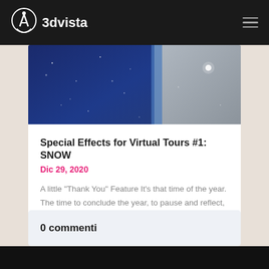3dvista
[Figure (photo): Partial hero image showing blue and grey snowy/starry background, top portion of a virtual tour snow effect scene]
Special Effects for Virtual Tours #1: SNOW
Dic 29, 2020
A little "Thank You" Feature It's that time of the year. The time to conclude the year, to pause and reflect, to send...
0 commenti